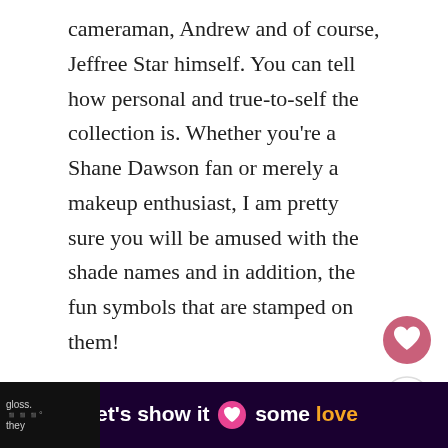cameraman, Andrew and of course, Jeffree Star himself. You can tell how personal and true-to-self the collection is. Whether you're a Shane Dawson fan or merely a makeup enthusiast, I am pretty sure you will be amused with the shade names and in addition, the fun symbols that are stamped on them!
[Figure (other): Heart/like button icon (pink circle with white heart)]
[Figure (other): Share button icon (white circle with share symbol)]
Since then, they have also come up with a makeup collection compromising of 2
[Figure (other): What's Next promotional box showing makeup bottles with text 'WHAT'S NEXT → The Best Drugstore...']
[Figure (other): Bottom banner ad with dark purple background and text "let's show it some love" with a pink heart, and partial text 'gloss' and 'they' on right side]